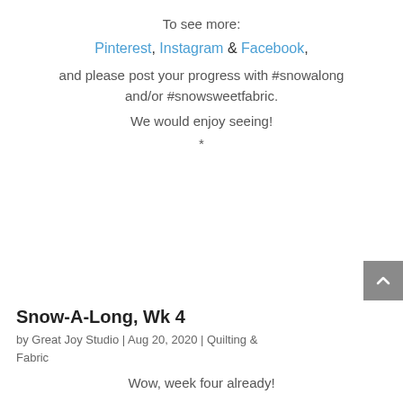To see more:
Pinterest, Instagram & Facebook,
and please post your progress with #snowalong and/or #snowsweetfabric.
We would enjoy seeing!
*
Snow-A-Long, Wk 4
by Great Joy Studio | Aug 20, 2020 | Quilting & Fabric
Wow, week four already!